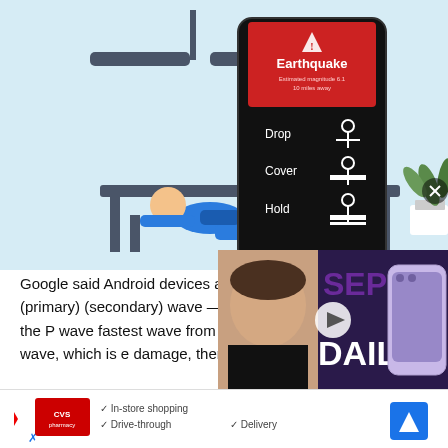[Figure (illustration): Illustration showing a person taking cover under a desk during an earthquake (blue figure, desk, ceiling fan, plant, chair), with a smartphone app overlay showing an Earthquake alert with Drop, Cover, Hold instructions on a red and black screen.]
[Figure (screenshot): Video thumbnail overlay showing a man with text SEP and DAILY and a purple iPhone, with a play button in the center.]
Google said Android devices are both types of waves — P (primary) (secondary) wave — associated don't normally feel the P wave fastest wave from the epicenter, whereas the S wave, which is e damage, then
[Figure (other): CVS Pharmacy advertisement banner showing logo, In-store shopping, Drive-through, Delivery options, and a navigation icon.]